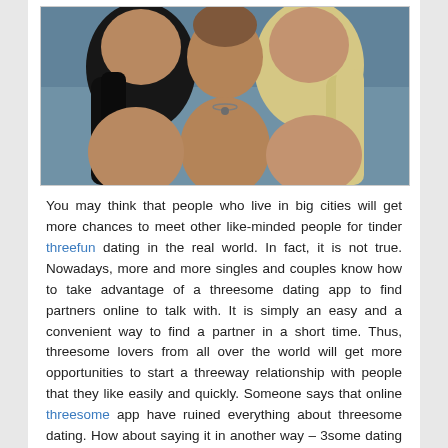[Figure (photo): Photo of three people close together — a man in the center being kissed on the cheeks by two women, one with dark hair on the left and one with blonde hair on the right, outdoor background with water visible]
You may think that people who live in big cities will get more chances to meet other like-minded people for tinder threefun dating in the real world. In fact, it is not true. Nowadays, more and more singles and couples know how to take advantage of a threesome dating app to find partners online to talk with. It is simply an easy and a convenient way to find a partner in a short time. Thus, threesome lovers from all over the world will get more opportunities to start a threeway relationship with people that they like easily and quickly. Someone says that online threesome app have ruined everything about threesome dating. How about saying it in another way – 3some dating apps has changed everything for these open-minded people. Let's check the details about how those